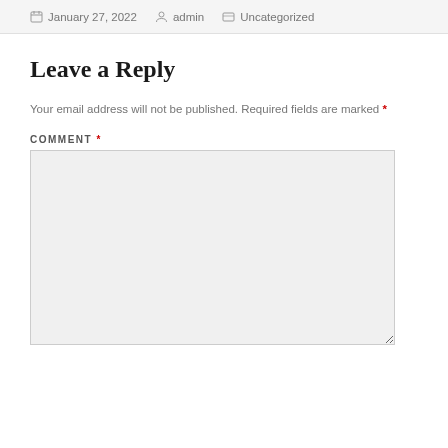January 27, 2022  admin  Uncategorized
Leave a Reply
Your email address will not be published. Required fields are marked *
COMMENT *